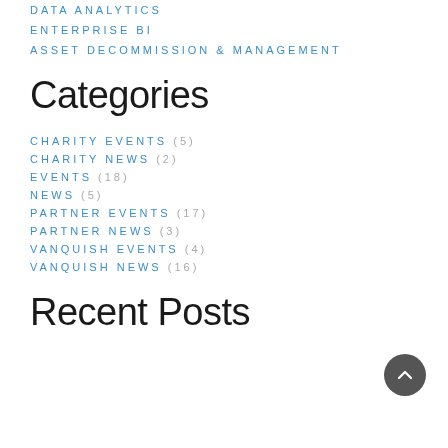DATA ANALYTICS
ENTERPRISE BI
ASSET DECOMMISSION & MANAGEMENT
Categories
CHARITY EVENTS (5)
CHARITY NEWS (2)
EVENTS (18)
NEWS (5)
PARTNER EVENTS (17)
PARTNER NEWS (3)
VANQUISH EVENTS (4)
VANQUISH NEWS (16)
Recent Posts